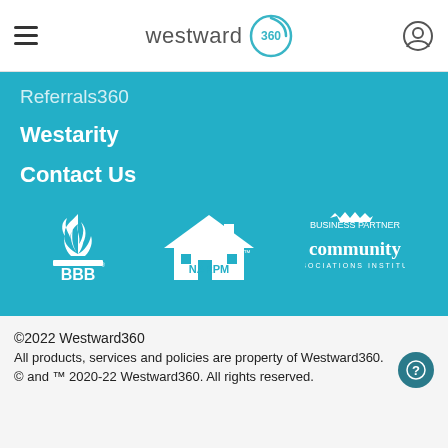westward 360 — navigation header with hamburger menu and user icon
Referrals360
Westarity
Contact Us
[Figure (logo): BBB Better Business Bureau logo in white]
[Figure (logo): NARPM logo in white]
[Figure (logo): Community Associations Institute Business Partner logo in white]
©2022 Westward360
All products, services and policies are property of Westward360.
© and ™ 2020-22 Westward360. All rights reserved.